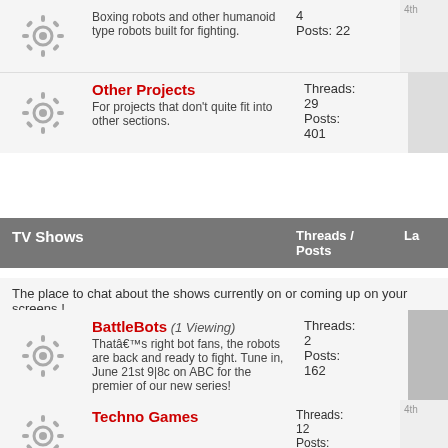| Forum | Threads/Posts | Last |
| --- | --- | --- |
| [gear icon] | Boxing robots and other humanoid type robots built for fighting. | 4
Posts: 22 | 4th... |
| [gear icon] | Other Projects
For projects that don't quite fit into other sections. | Threads: 29
Posts: 401 |  |
| TV Shows section header | Threads / Posts | La... |
| The place to chat about the shows currently on or coming up on your screens ! |  |  |
| [gear icon] | BattleBots (1 Viewing)
Thatâ€™s right bot fans, the robots are back and ready to fight. Tune in, June 21st 9|8c on ABC for the premier of our new series! | Threads: 2
Posts: 162 |  |
| [gear icon] | Techno Games | Threads: 12
Posts: 306 | 4th... |
| [gear icon] | Robot Wars (4 Viewing)
Discussion of Robot Wars shows | Threads: 123
Posts: 2,674 |  |
| [gear icon] | Gadget Show (1 Viewing) | Threads: 5 |  |